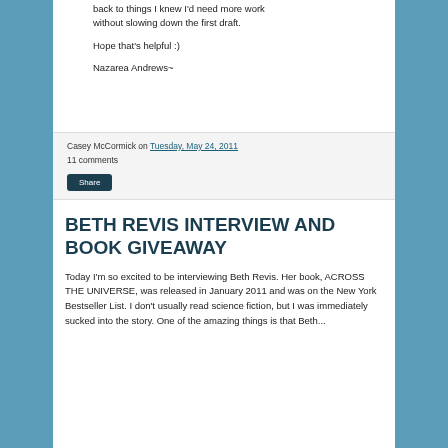back to things I knew I'd need more work without slowing down the first draft.

Hope that's helpful :)

Nazarea Andrews~
Casey McCormick on Tuesday, May 24, 2011
11 comments
Share
BETH REVIS INTERVIEW AND BOOK GIVEAWAY
Today I'm so excited to be interviewing Beth Revis. Her book, ACROSS THE UNIVERSE, was released in January 2011 and was on the New York Bestseller List. I don't usually read science fiction, but I was immediately sucked into the story. One of the amazing things is that Beth...